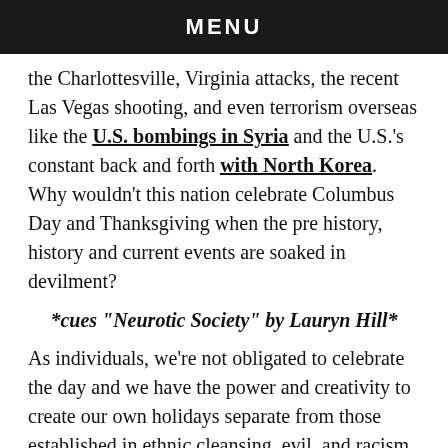MENU
the Charlottesville, Virginia attacks, the recent Las Vegas shooting, and even terrorism overseas like the U.S. bombings in Syria and the U.S.'s constant back and forth with North Korea. Why wouldn't this nation celebrate Columbus Day and Thanksgiving when the pre history, history and current events are soaked in devilment?
*cues "Neurotic Society" by Lauryn Hill*
As individuals, we're not obligated to celebrate the day and we have the power and creativity to create our own holidays separate from those established in ethnic cleansing, evil, and racism regardless about how anyone feels about it, including your family. There are